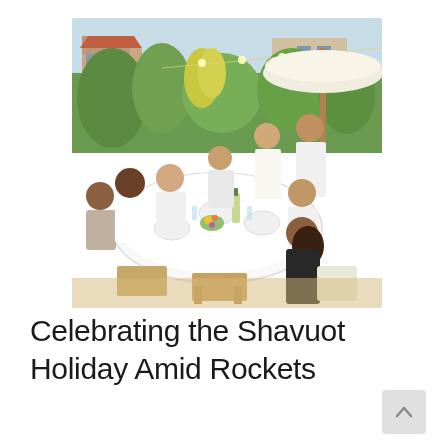[Figure (photo): Outdoor group dinner on a rooftop terrace. A group of about 10 people — men and women of diverse backgrounds — sit and stand around a large oval table covered with a white tablecloth, set with plates, glasses, flowers, and food. Most are wearing white. In the background are residential buildings, lush green hedges and plants, string lights, and a large white patio umbrella. The mood is festive and celebratory, taken at golden hour.]
Celebrating the Shavuot Holiday Amid Rockets